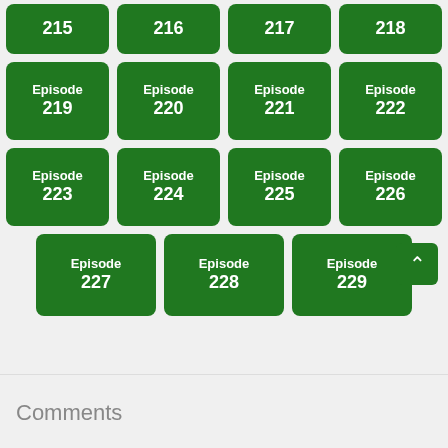[Figure (infographic): Grid of green episode buttons numbered 215-229. Row 1 (partial, top): Episodes 215, 216, 217, 218. Row 2: Episodes 219, 220, 221, 222. Row 3: Episodes 223, 224, 225, 226. Row 4 (partial, 3 buttons): Episodes 227, 228, 229. A green back-to-top arrow button appears at bottom right. Below is a Comments section header.]
Comments